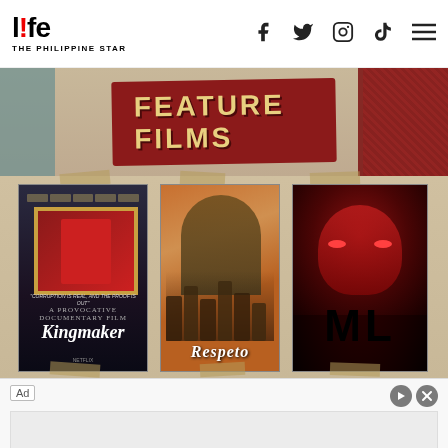life - THE PHILIPPINE STAR
[Figure (screenshot): Feature Films banner with three movie posters: The Kingmaker, Respeto, and ML, plus partial bottom row with Pisay and two other films]
Ad